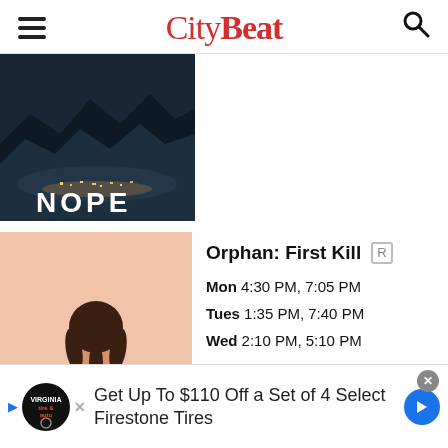CityBeat
[Figure (photo): Movie poster for NOPE showing dark mountainous landscape at night with lights in the valley and the title NOPE in white text]
[Figure (photo): Movie poster for Orphan: First Kill showing a young girl with braided hair seen from behind, wearing a white dress with some blood stains, pink background]
Orphan: First Kill  R
Mon 4:30 PM, 7:05 PM
Tues 1:35 PM, 7:40 PM
Wed 2:10 PM, 5:10 PM
Get Up To $110 Off a Set of 4 Select Firestone Tires